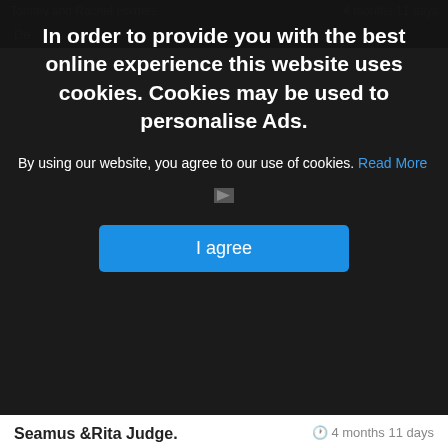Tommy and Rachel Holmes | 4 months 11 days
[Figure (screenshot): Cookie consent overlay on a website. Dark semi-transparent modal with bold white text: 'In order to provide you with the best online experience this website uses cookies. Cookies may be used to personalise Ads.' Below: 'By using our website, you agree to our use of cookies. Read More' with a blue 'I agree' button.]
Seamus &Rita Judge | 4 months 11 days
Deepest sympathies to you Noel and all your family on the sad passing of Kieran may he rest in peace
Catherine and Noel Sweeney. | 4 months 11 days
Deepest sympathy to Margaret John and all the Butler family on the passing of Kieran. Thinking of you at this sad time.